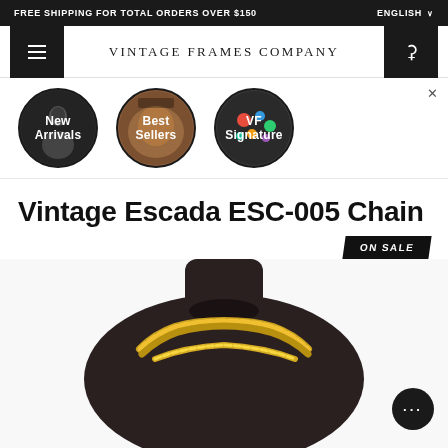FREE SHIPPING FOR TOTAL ORDERS OVER $150
VINTAGE FRAMES COMPANY
[Figure (illustration): Three circular category buttons: New Arrivals (dark silhouette of person), Best Sellers (brown/skin tone close-up), VF Signature (colorful gems/accessories). Black circle borders. White text labels.]
Vintage Escada ESC-005 Chain
ON SALE
[Figure (photo): Dark brown/black mannequin bust wearing a gold chunky chain necklace (Vintage Escada ESC-005 Chain). White background. Product shot from front/slightly above.]